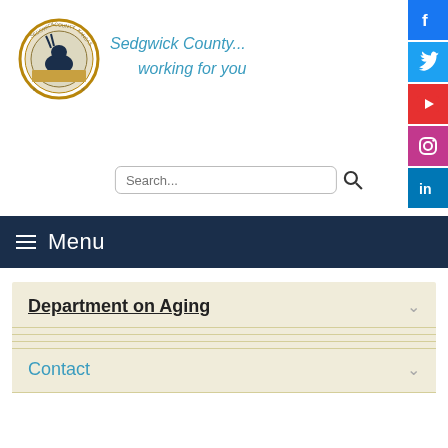[Figure (logo): Sedgwick County Kansas circular seal/logo]
Sedgwick County... working for you
[Figure (infographic): Social media icons: Facebook (blue), Twitter (blue), YouTube (red), Instagram (pink/purple), LinkedIn (blue)]
Search...
Menu
Department on Aging
Contact